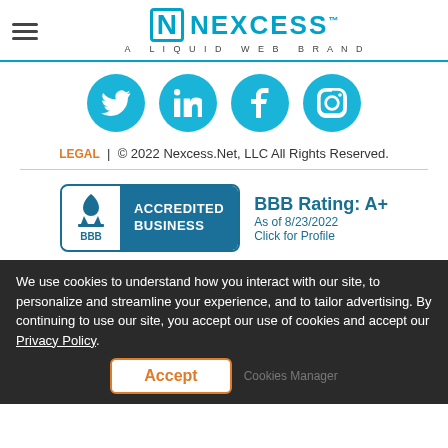[Figure (logo): Nexcess logo - A Liquid Web Brand with hamburger menu icon]
[Figure (infographic): Four social media icons in cyan circles: Twitter, LinkedIn, Facebook, Instagram]
LEGAL | © 2022 Nexcess.Net, LLC All Rights Reserved.
[Figure (logo): BBB Accredited Business badge with BBB Rating: A+ As of 8/23/2022 Click for Profile]
We use cookies to understand how you interact with our site, to personalize and streamline your experience, and to tailor advertising. By continuing to use our site, you accept our use of cookies and accept our Privacy Policy.